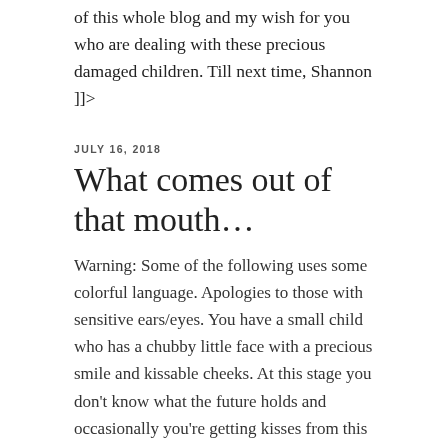of this whole blog and my wish for you who are dealing with these precious damaged children. Till next time, Shannon ]]>
JULY 16, 2018
What comes out of that mouth…
Warning: Some of the following uses some colorful language. Apologies to those with sensitive ears/eyes. You have a small child who has a chubby little face with a precious smile and kissable cheeks. At this stage you don't know what the future holds and occasionally you're getting kisses from this button mouth and he's funny and curious and charming.
[Figure (photo): Broken image placeholder with filename 12107036_10209179370107980_3794553278057878597_n]
Fast forward a few years and you're sitting in a restaurant in Hollywood, CA where you've paid a lot of money to go